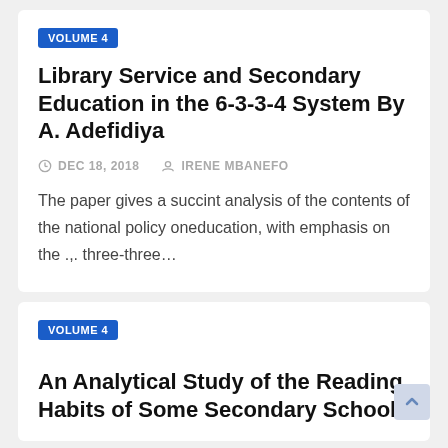VOLUME 4
Library Service and Secondary Education in the 6-3-3-4 System By A. Adefidiya
DEC 18, 2018   IRENE MBANEFO
The paper gives a succint analysis of the contents of the national policy oneducation, with emphasis on the .,. three-three…
VOLUME 4
An Analytical Study of the Reading Habits of Some Secondary School